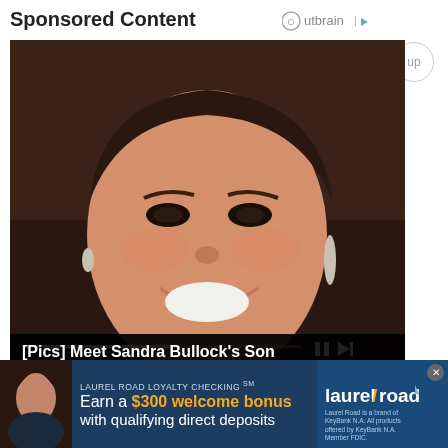Sponsored Content
[Figure (logo): Outbrain logo with circular icon and play arrow]
[Figure (photo): Photo of Sandra Bullock smiling with earrings, overlaid with video progress bar and playback controls]
[Pics] Meet Sandra Bullock's Son
Direct Healthy
>>
Did You Serve at Camp Lejeune from 1953
[Figure (photo): Laurel Road Loyalty Checking advertisement banner showing woman, text 'LAUREL ROAD LOYALTY CHECKING SM', 'Earn a $300 welcome bonus with qualifying direct deposits', and Laurel Road logo with fine print about KeyBank N.A.]